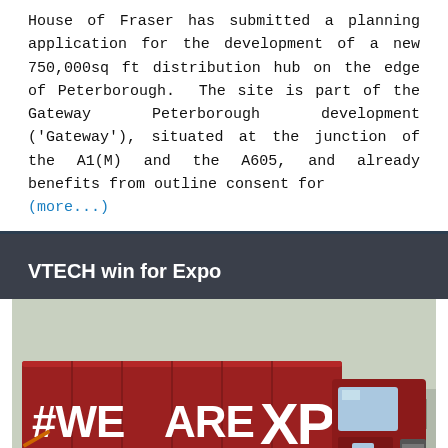House of Fraser has submitted a planning application for the development of a new 750,000sq ft distribution hub on the edge of Peterborough. The site is part of the Gateway Peterborough development ('Gateway'), situated at the junction of the A1(M) and the A605, and already benefits from outline consent for (more...)
VTECH win for Expo
[Figure (photo): A large red articulated truck with '#WEAREXPO' branding on the trailer, parked in a car park. In the foreground are colourful children's toy vehicles including cranes and construction toys. The truck cab shows 'MAN' branding and XPO logos.]